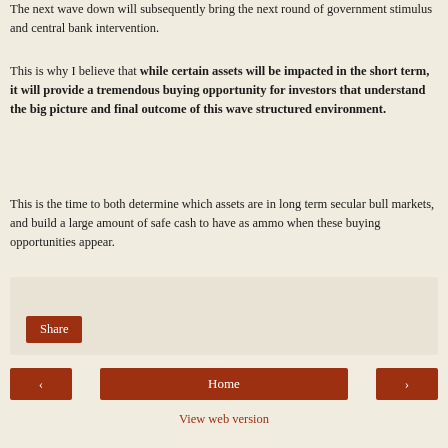The next wave down will subsequently bring the next round of government stimulus and central bank intervention.
This is why I believe that while certain assets will be impacted in the short term, it will provide a tremendous buying opportunity for investors that understand the big picture and final outcome of this wave structured environment.
This is the time to both determine which assets are in long term secular bull markets, and build a large amount of safe cash to have as ammo when these buying opportunities appear.
[Figure (other): Share button area with light beige background and a dark red Share button]
[Figure (other): Navigation row with left arrow button, Home button, and right arrow button, all in dark red]
View web version